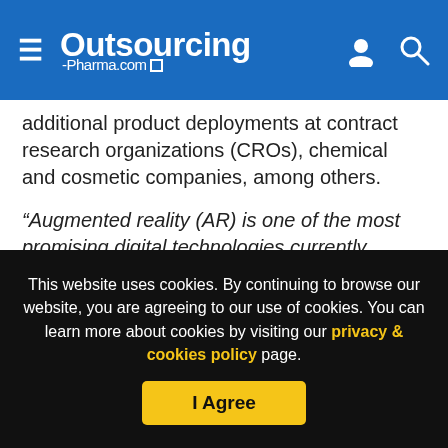Outsourcing-Pharma.com
additional product deployments at contract research organizations (CROs), chemical and cosmetic companies, among others.
“Augmented reality (AR) is one of the most promising digital technologies currently transforming all of the life science industries such as healthcare, medical, biotech, and pharmaceutical,” said Stracquatanio.
The company is also releasing a 3.0 version of the platform
This website uses cookies. By continuing to browse our website, you are agreeing to our use of cookies. You can learn more about cookies by visiting our privacy & cookies policy page.